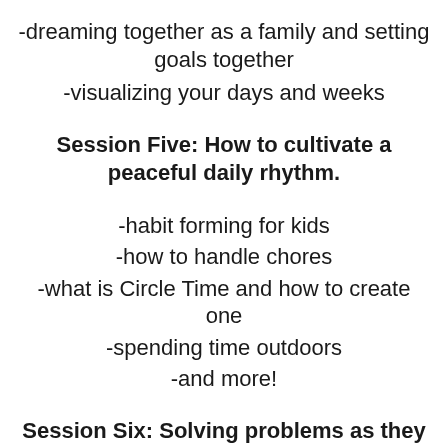-dreaming together as a family and setting goals together
-visualizing your days and weeks
Session Five: How to cultivate a peaceful daily rhythm.
-habit forming for kids
-how to handle chores
-what is Circle Time and how to create one
-spending time outdoors
-and more!
Session Six: Solving problems as they arise.